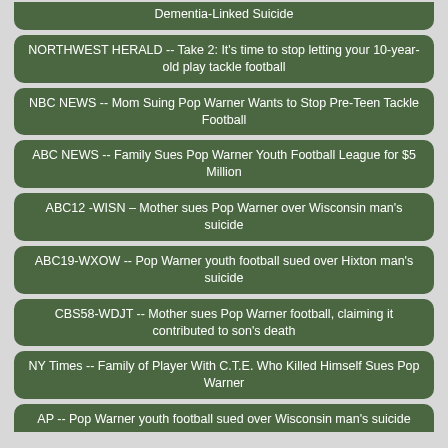Dementia-Linked Suicide
NORTHWEST HERALD -- Take 2: It's time to stop letting your 10-year-old play tackle football
NBC NEWS -- Mom Suing Pop Warner Wants to Stop Pre-Teen Tackle Football
ABC NEWS -- Family Sues Pop Warner Youth Football League for $5 Million
ABC12 -WISN – Mother sues Pop Warner over Wisconsin man's suicide
ABC19-WXOW -- Pop Warner youth football sued over Hixton man's suicide
CBS58-WDJT -- Mother sues Pop Warner football, claiming it contributed to son's death
NY Times -- Family of Player With C.T.E. Who Killed Himself Sues Pop Warner
AP -- Pop Warner youth football sued over Wisconsin man's suicide